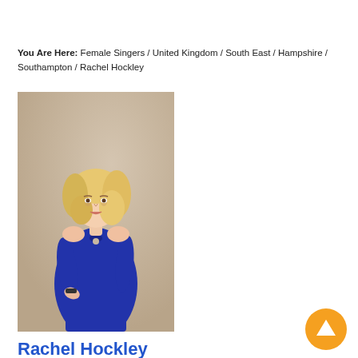You Are Here: Female Singers / United Kingdom / South East / Hampshire / Southampton / Rachel Hockley
[Figure (photo): Professional photo of Rachel Hockley, a blonde woman wearing a royal blue fitted dress, posing against a textured beige wall.]
Rachel Hockley